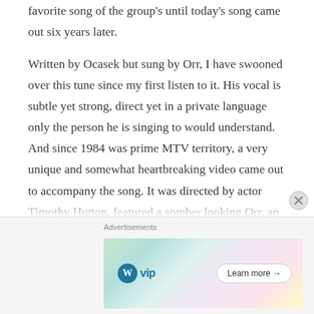favorite song of the group's until today's song came out six years later.

Written by Ocasek but sung by Orr, I have swooned over this tune since my first listen to it. His vocal is subtle yet strong, direct yet in a private language only the person he is singing to would understand. And since 1984 was prime MTV territory, a very unique and somewhat heartbreaking video came out to accompany the song. It was directed by actor Timothy Hutton, featured a somber looking Orr, an 18 year old model named Paulina Porizkova and introduced her to her future husband, Ocasek.
[Figure (other): Advertisement banner with WordPress VIP logo and 'Learn more' button on a colorful background with app icons (Slack, Facebook). Labeled 'Advertisements'.]